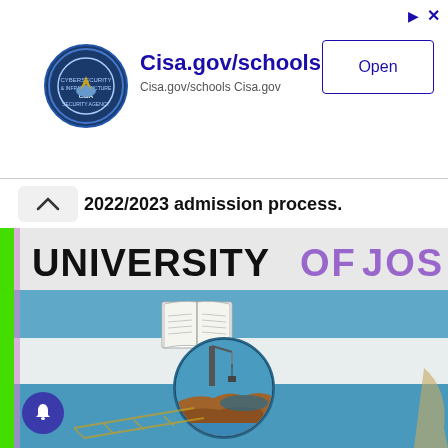[Figure (other): CISA advertisement banner with circular CISA logo, text 'Cisa.gov/schools' and 'Cisa.gov/schools Cisa.gov', and an Open button]
2022/2023 admission process.
[Figure (photo): University of Jos shield/crest sign showing 'UNIVERSITY OF JOS' text in bold black letters on white background with purple lettering for 'OF JOS', and the university coat of arms featuring an open book and a circular emblem with a crane/industrial scene over water and terrain, on a blue and white striped background]